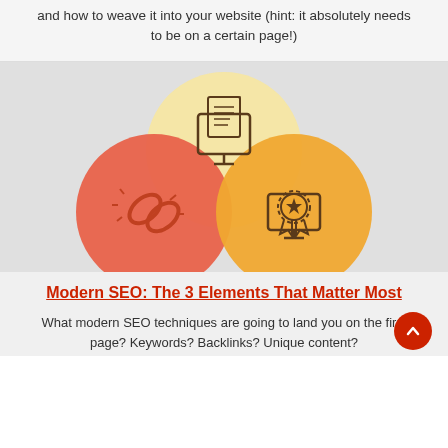and how to weave it into your website (hint: it absolutely needs to be on a certain page!)
[Figure (infographic): Three overlapping circles with SEO icons: top center pale yellow circle with monitor/document icon, bottom left red/coral circle with chain link icon, bottom right golden/amber circle with award badge on monitor icon]
Modern SEO: The 3 Elements That Matter Most
What modern SEO techniques are going to land you on the first page? Keywords? Backlinks? Unique content?